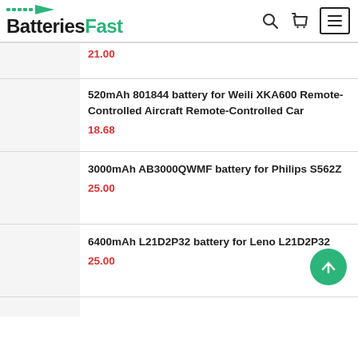BatteriesFast
21.00
520mAh 801844 battery for Weili XKA600 Remote-Controlled Aircraft Remote-Controlled Car
18.68
3000mAh AB3000QWMF battery for Philips S562Z
25.00
6400mAh L21D2P32 battery for Leno L21D2P32
25.00